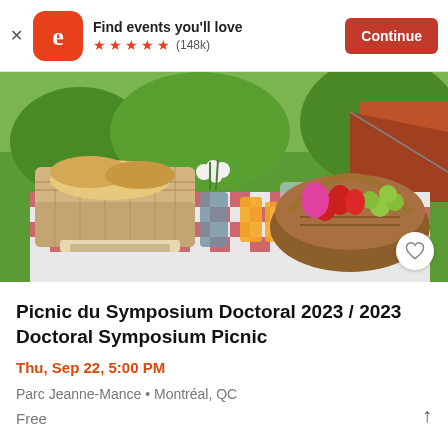Find events you'll love ★★★★★ (148k) Continue
[Figure (photo): Picnic scene with wicker baskets of bread and fruit on a red checkered blanket, flowers in a vase, orange juice, and a tent visible in the background outdoors.]
Picnic du Symposium Doctoral 2023 / 2023 Doctoral Symposium Picnic
Thu, Sep 22, 5:00 PM
Parc Jeanne-Mance • Montréal, QC
Free